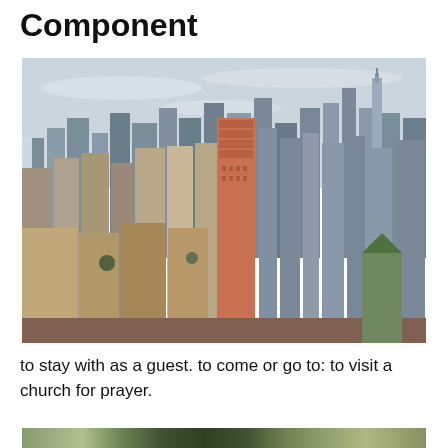Component
[Figure (photo): Aerial view of a dense urban skyline, likely New York City, showing numerous skyscrapers and high-rise buildings including what appears to be the Empire State Building on the right side. The photo is taken from an elevated vantage point looking across the city.]
to stay with as a guest. to come or go to: to visit a church for prayer.
[Figure (photo): Partial view of what appears to be a colorful textile or fabric with diagonal stripes in green, red, and other colors, visible at the very bottom of the page.]